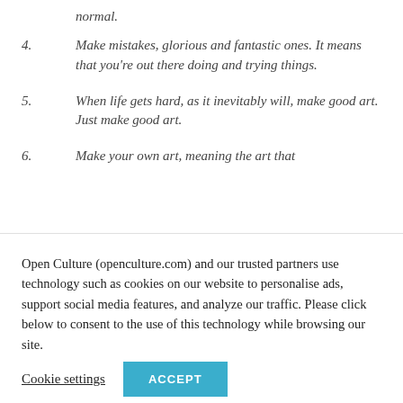normal.
4.	Make mistakes, glorious and fantastic ones. It means that you're out there doing and trying things.
5.	When life gets hard, as it inevitably will, make good art. Just make good art.
6.	Make your own art, meaning the art that ...
Open Culture (openculture.com) and our trusted partners use technology such as cookies on our website to personalise ads, support social media features, and analyze our traffic. Please click below to consent to the use of this technology while browsing our site.
Cookie settings  ACCEPT